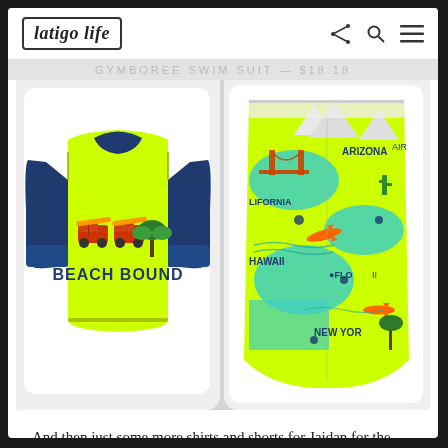latigo life
[Figure (photo): Two children's swim items from Gymboree: left shows a neon yellow/lime long-sleeve rash guard with navy blue raglan sleeves and 'BEACH BOUND' text with surf vans and palm trees graphic; right shows neon yellow swim shorts with a colorful USA map print showing states including Arizona, California, Hawaii, Florida, New York with planes, mountains, and landmarks.]
And then just some more shirts and shorts for Jaidan for the summer...